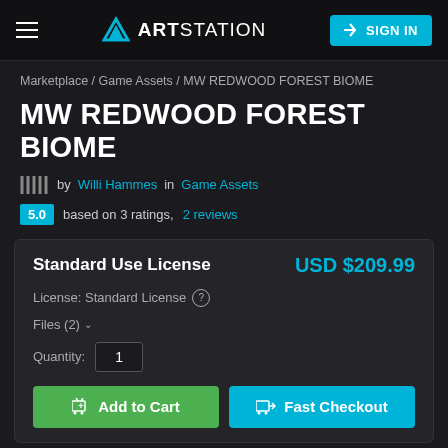ArtStation — SIGN IN
Marketplace / Game Assets / MW REDWOOD FOREST BIOME
MW REDWOOD FOREST BIOME
by Willi Hammes in Game Assets
5.0 based on 3 ratings, 2 reviews
| Standard Use License | USD $209.99 |
| --- | --- |
| License: Standard License © |  |
| Files (2) ∨ |  |
| Quantity: 1 |  |
Add to Cart   Fast Checkout